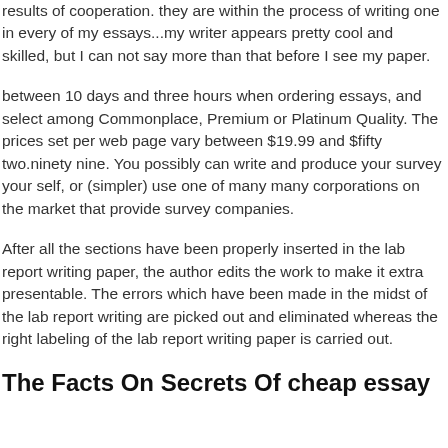results of cooperation. they are within the process of writing one in every of my essays...my writer appears pretty cool and skilled, but I can not say more than that before I see my paper.
between 10 days and three hours when ordering essays, and select among Commonplace, Premium or Platinum Quality. The prices set per web page vary between $19.99 and $fifty two.ninety nine. You possibly can write and produce your survey your self, or (simpler) use one of many many corporations on the market that provide survey companies.
After all the sections have been properly inserted in the lab report writing paper, the author edits the work to make it extra presentable. The errors which have been made in the midst of the lab report writing are picked out and eliminated whereas the right labeling of the lab report writing paper is carried out.
The Facts On Secrets Of cheap essay